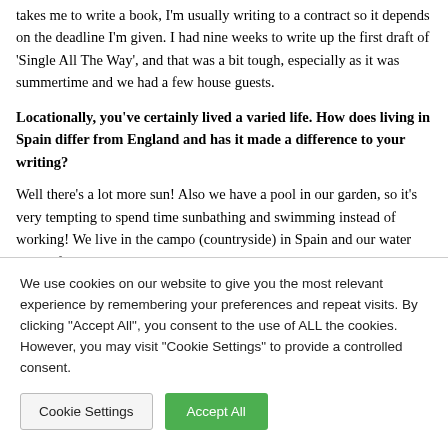takes me to write a book, I'm usually writing to a contract so it depends on the deadline I'm given. I had nine weeks to write up the first draft of 'Single All The Way', and that was a bit tough, especially as it was summertime and we had a few house guests.
Locationally, you've certainly lived a varied life. How does living in Spain differ from England and has it made a difference to your writing?
Well there's a lot more sun! Also we have a pool in our garden, so it's very tempting to spend time sunbathing and swimming instead of working! We live in the campo (countryside) in Spain and our water comes from a well but things sometimes go wrong so there are times we'll get up to find we have no electricity or water, which is
We use cookies on our website to give you the most relevant experience by remembering your preferences and repeat visits. By clicking "Accept All", you consent to the use of ALL the cookies. However, you may visit "Cookie Settings" to provide a controlled consent.